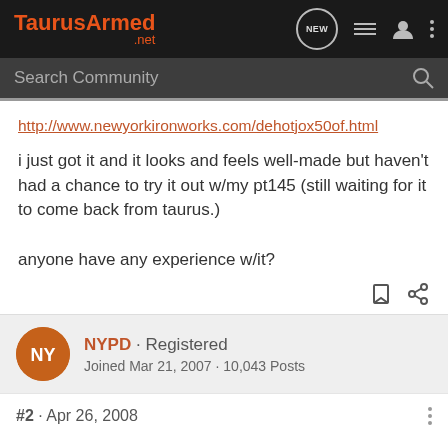TaurusArmed .net
http://www.newyorkironworks.com/dehotjox50of.html
i just got it and it looks and feels well-made but haven't had a chance to try it out w/my pt145 (still waiting for it to come back from taurus.)

anyone have any experience w/it?
NYPD · Registered
Joined Mar 21, 2007 · 10,043 Posts
#2 · Apr 26, 2008